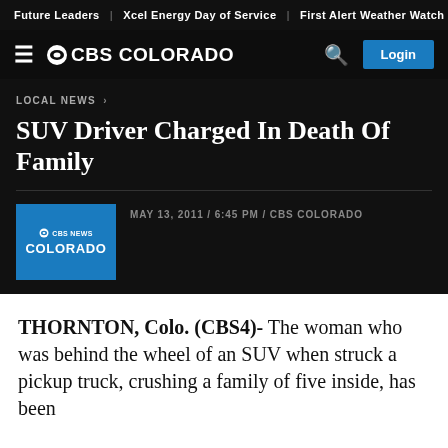Future Leaders | Xcel Energy Day of Service | First Alert Weather Watch
≡ CBS COLORADO  🔍  Login
LOCAL NEWS >
SUV Driver Charged In Death Of Family
MAY 13, 2011 / 6:45 PM / CBS COLORADO
THORNTON, Colo. (CBS4)- The woman who was behind the wheel of an SUV when struck a pickup truck, crushing a family of five inside, has been